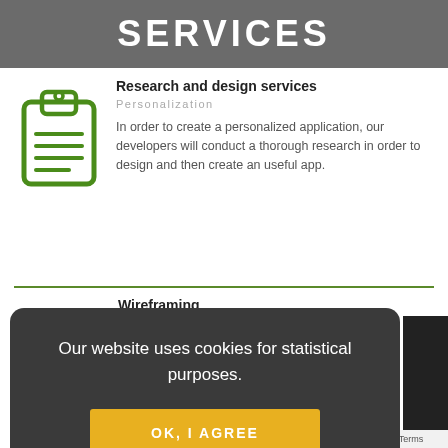SERVICES
Research and design services
Personalization
In order to create a personalized application, our developers will conduct a thorough research in order to design and then create an useful app.
Wireframing
E-commerce companies
For e-commerce companies, our app
Our website uses cookies for statistical purposes.
OK, I AGREE
Privacy · Terms